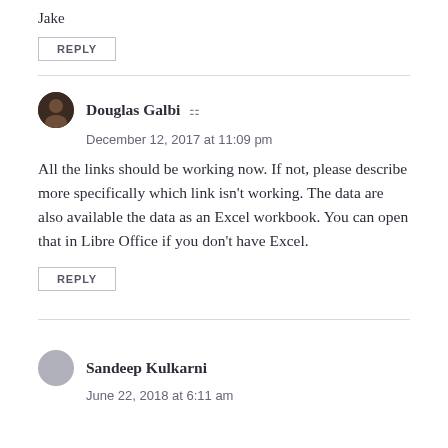Jake
REPLY
Douglas Galbi
December 12, 2017 at 11:09 pm
All the links should be working now. If not, please describe more specifically which link isn't working. The data are also available the data as an Excel workbook. You can open that in Libre Office if you don't have Excel.
REPLY
Sandeep Kulkarni
June 22, 2018 at 6:11 am